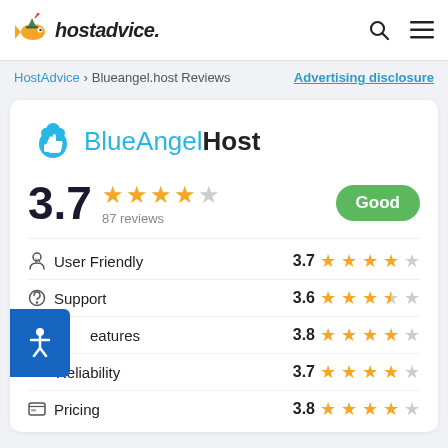hostadvice.
HostAdvice > Blueangel.host Reviews    Advertising disclosure
BlueAngelHost
3.7  87 reviews  Good
User Friendly  3.7
Support  3.6
Features  3.8
Reliability  3.7
Pricing  3.8